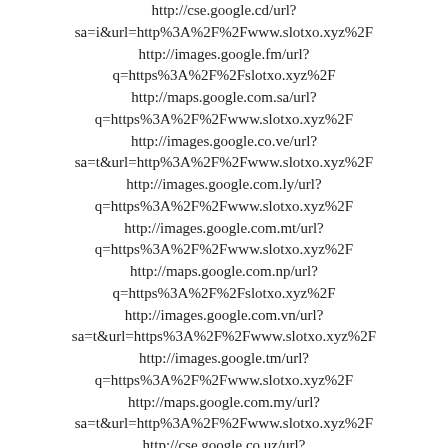http://cse.google.cd/url?sa=i&url=http%3A%2F%2Fwww.slotxo.xyz%2F
http://images.google.fm/url?q=https%3A%2F%2Fslotxo.xyz%2F
http://maps.google.com.sa/url?q=https%3A%2F%2Fwww.slotxo.xyz%2F
http://images.google.co.ve/url?sa=t&url=http%3A%2F%2Fwww.slotxo.xyz%2F
http://images.google.com.ly/url?q=https%3A%2F%2Fwww.slotxo.xyz%2F
http://images.google.com.mt/url?q=https%3A%2F%2Fwww.slotxo.xyz%2F
http://maps.google.com.np/url?q=https%3A%2F%2Fslotxo.xyz%2F
http://images.google.com.vn/url?sa=t&url=https%3A%2F%2Fwww.slotxo.xyz%2F
http://images.google.tm/url?q=https%3A%2F%2Fwww.slotxo.xyz%2F
http://maps.google.com.my/url?sa=t&url=http%3A%2F%2Fwww.slotxo.xyz%2F
http://cse.google.co.uz/url?q=http%3A%2F%2Fslotxo.xyz%2F
http://www.google.fm/url?q=http%3A%2F%2Fwww.slotxo.xyz%2F
http://images.google.at/url?sa=t&url=https%3A%2F%2Fslotxo.xyz%2F